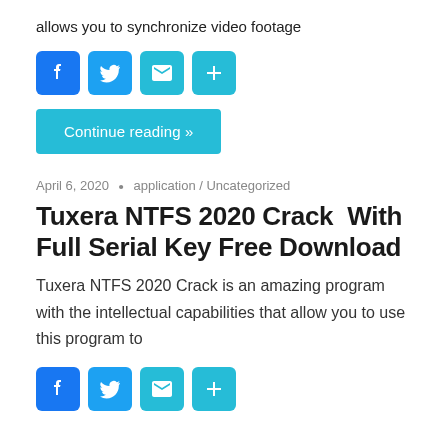allows you to synchronize video footage
[Figure (infographic): Social share icons: Facebook (blue), Twitter (light blue), Email (teal), Add/Plus (teal)]
Continue reading »
April 6, 2020  •  application / Uncategorized
Tuxera NTFS 2020 Crack  With Full Serial Key Free Download
Tuxera NTFS 2020 Crack is an amazing program with the intellectual capabilities that allow you to use this program to
[Figure (infographic): Social share icons: Facebook (blue), Twitter (light blue), Email (teal), Add/Plus (teal)]